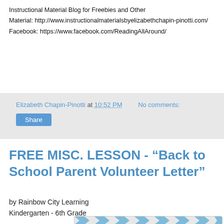Instructional Material Blog for Freebies and Other Material: http://www.instructionalmaterialsbyelizabethchapin-pinotti.com/ Facebook: https://www.facebook.com/ReadingAllAround/
Elizabeth Chapin-Pinotti at 10:52 PM   No comments:
Share
FREE MISC. LESSON - “Back to School Parent Volunteer Letter”
by Rainbow City Learning
Kindergarten - 6th Grade
[Figure (photo): Clipboard with 'Back to School' text on a blue and grey chevron pattern background]